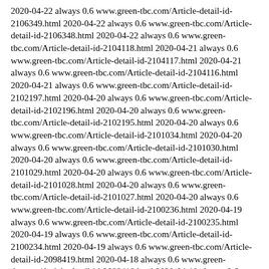2020-04-22 always 0.6 www.green-tbc.com/Article-detail-id-2106349.html 2020-04-22 always 0.6 www.green-tbc.com/Article-detail-id-2106348.html 2020-04-22 always 0.6 www.green-tbc.com/Article-detail-id-2104118.html 2020-04-21 always 0.6 www.green-tbc.com/Article-detail-id-2104117.html 2020-04-21 always 0.6 www.green-tbc.com/Article-detail-id-2104116.html 2020-04-21 always 0.6 www.green-tbc.com/Article-detail-id-2102197.html 2020-04-20 always 0.6 www.green-tbc.com/Article-detail-id-2102196.html 2020-04-20 always 0.6 www.green-tbc.com/Article-detail-id-2102195.html 2020-04-20 always 0.6 www.green-tbc.com/Article-detail-id-2101034.html 2020-04-20 always 0.6 www.green-tbc.com/Article-detail-id-2101030.html 2020-04-20 always 0.6 www.green-tbc.com/Article-detail-id-2101029.html 2020-04-20 always 0.6 www.green-tbc.com/Article-detail-id-2101028.html 2020-04-20 always 0.6 www.green-tbc.com/Article-detail-id-2101027.html 2020-04-20 always 0.6 www.green-tbc.com/Article-detail-id-2100236.html 2020-04-19 always 0.6 www.green-tbc.com/Article-detail-id-2100235.html 2020-04-19 always 0.6 www.green-tbc.com/Article-detail-id-2100234.html 2020-04-19 always 0.6 www.green-tbc.com/Article-detail-id-2098419.html 2020-04-18 always 0.6 www.green-tbc.com/Article-detail-id-2098418.html 2020-04-18 always 0.6 www.green-tbc.com/Article-detail-id-2098417.html 2020-04-18 always 0.6 www.green-tbc.com/Article-detail-id-2096598.html 2020-04-17 always 0.6 www.green-tbc.com/Article-detail-id-